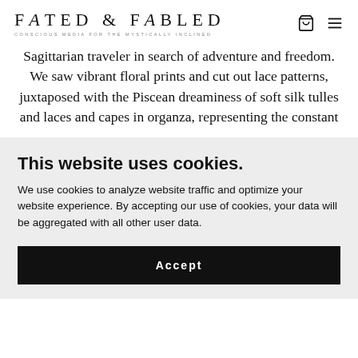FATED & FABLED — CONSCIOUS MEDIA FOR THE MYSTICALLY INCLINED
Sagittarian traveler in search of adventure and freedom. We saw vibrant floral prints and cut out lace patterns, juxtaposed with the Piscean dreaminess of soft silk tulles and laces and capes in organza, representing the constant
This website uses cookies.
We use cookies to analyze website traffic and optimize your website experience. By accepting our use of cookies, your data will be aggregated with all other user data.
Accept